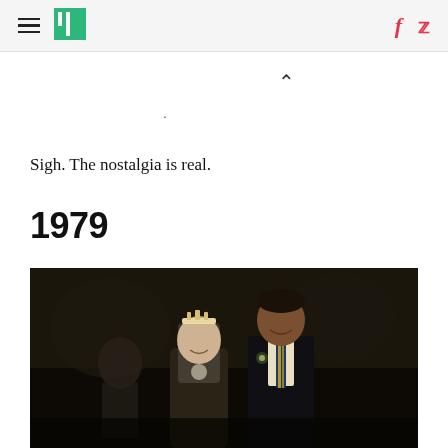HuffPost navigation with hamburger menu, logo, Facebook and Twitter icons
Sigh. The nostalgia is real.
1979
[Figure (photo): A vintage photograph from 1979 showing a young man in a dark blazer with a striped tie and a young woman wearing a tiara/headpiece, both smiling, at what appears to be a formal event or prom. Dark background.]